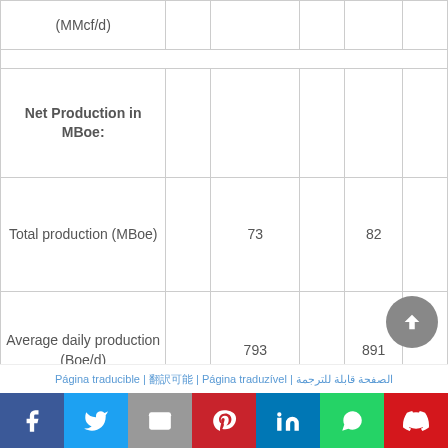|  |  |  |  |  |  |
| --- | --- | --- | --- | --- | --- |
| (MMcf/d) |  |  |  |  |  |
|  |  |  |  |  |  |
| Net Production in MBoe: |  |  |  |  |  |
| Total production (MBoe) |  | 73 |  | 82 |  |
| Average daily production (Boe/d) |  | 793 |  | 891 |  |
|  |  |  |  |  |  |
| Average Sales |  |  |  |  |  |
Página traducible | 翻訳可能 | Página traduzível | الصفحة قابلة للترجمة